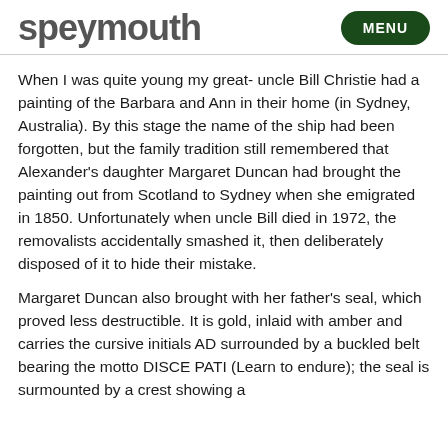speymouth | MENU
When I was quite young my great- uncle Bill Christie had a painting of the Barbara and Ann in their home (in Sydney, Australia). By this stage the name of the ship had been forgotten, but the family tradition still remembered that Alexander's daughter Margaret Duncan had brought the painting out from Scotland to Sydney when she emigrated in 1850. Unfortunately when uncle Bill died in 1972, the removalists accidentally smashed it, then deliberately disposed of it to hide their mistake.
Margaret Duncan also brought with her father's seal, which proved less destructible. It is gold, inlaid with amber and carries the cursive initials AD surrounded by a buckled belt bearing the motto DISCE PATI (Learn to endure); the seal is surmounted by a crest showing a